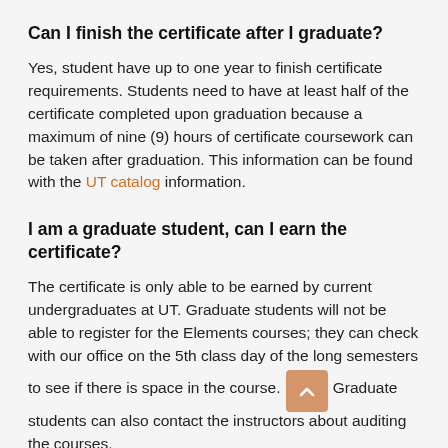Can I finish the certificate after I graduate?
Yes, student have up to one year to finish certificate requirements. Students need to have at least half of the certificate completed upon graduation because a maximum of nine (9) hours of certificate coursework can be taken after graduation. This information can be found with the UT catalog information.
I am a graduate student, can I earn the certificate?
The certificate is only able to be earned by current undergraduates at UT. Graduate students will not be able to register for the Elements courses; they can check with our office on the 5th class day of the long semesters to see if there is space in the course. Graduate students can also contact the instructors about auditing the courses.